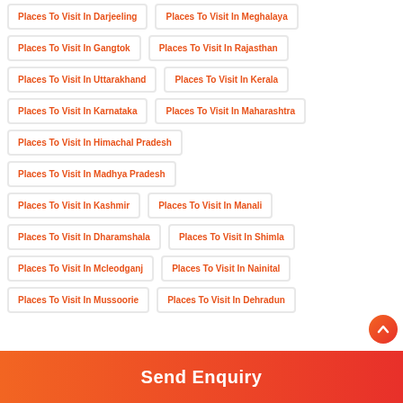Places To Visit In Darjeeling
Places To Visit In Meghalaya
Places To Visit In Gangtok
Places To Visit In Rajasthan
Places To Visit In Uttarakhand
Places To Visit In Kerala
Places To Visit In Karnataka
Places To Visit In Maharashtra
Places To Visit In Himachal Pradesh
Places To Visit In Madhya Pradesh
Places To Visit In Kashmir
Places To Visit In Manali
Places To Visit In Dharamshala
Places To Visit In Shimla
Places To Visit In Mcleodganj
Places To Visit In Nainital
Places To Visit In Mussoorie
Places To Visit In Dehradun
Send Enquiry